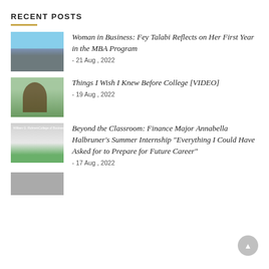RECENT POSTS
Woman in Business: Fey Talabi Reflects on Her First Year in the MBA Program – 21 Aug , 2022
Things I Wish I Knew Before College [VIDEO] – 19 Aug , 2022
Beyond the Classroom: Finance Major Annabella Halbruner's Summer Internship "Everything I Could Have Asked for to Prepare for Future Career" – 17 Aug , 2022